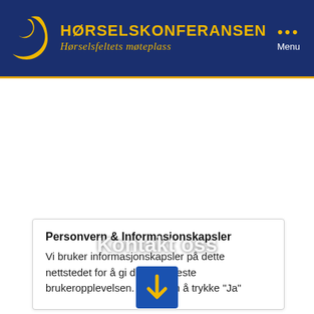[Figure (logo): Hørselskonferansen website header with moon logo, title 'HØRSELSKONFERANSEN', subtitle 'Hørselsfeltets møteplass', and a menu icon top right]
Personvern & Informasjonskapsler
Vi bruker informasjonskapsler på dette nettstedet for å gi deg den beste brukeropplevelsen. Gjennom å trykke "Ja"
Kontakt oss